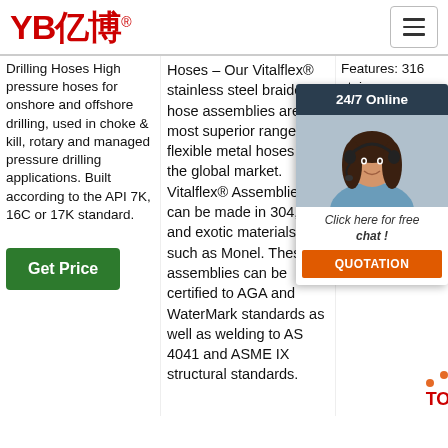[Figure (logo): YB亿博 logo in red with registered trademark symbol]
Drilling Hoses High pressure hoses for onshore and offshore drilling, used in choke & kill, rotary and managed pressure drilling applications. Built according to the API 7K, 16C or 17K standard.
Hoses – Our Vitalflex® stainless steel braided hose assemblies are the most superior range of flexible metal hoses on the global market. Vitalflex® Assemblies can be made in 304, 316 and exotic materials such as Monel. These assemblies can be certified to AGA and WaterMark standards as well as welding to AS 4041 and ASME IX structural standards.
Features: 316 stainless steel construction, Temperature—100, Media (MF) range in., —up (13) pressure fitting —1/4 to 9/16 in., Pressure rating—up to ...
[Figure (photo): 24/7 Online chat widget showing a woman with a headset smiling, with a 'Click here for free chat!' message and QUOTATION button]
[Figure (other): TOP navigation icon with orange dots and red text]